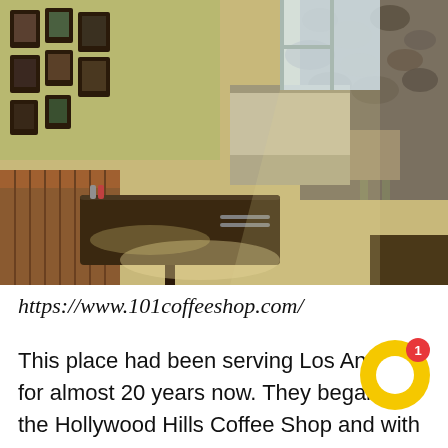[Figure (photo): Interior of a retro-style coffee shop/diner with brown vinyl booth seating, a dark wood table, framed photos on the wall, and a counter area with chairs. Warm lighting and terrazzo floors visible.]
https://www.101coffeeshop.com/
This place had been serving Los Angeles for almost 20 years now. They began as the Hollywood Hills Coffee Shop and with the change I ownership comes a new na... The place has this retro vibe that can make it really relaxing and enjoyable. They serve...